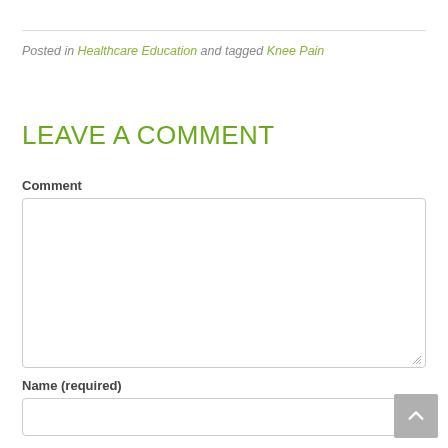Posted in Healthcare Education and tagged Knee Pain
LEAVE A COMMENT
Comment
Name (required)